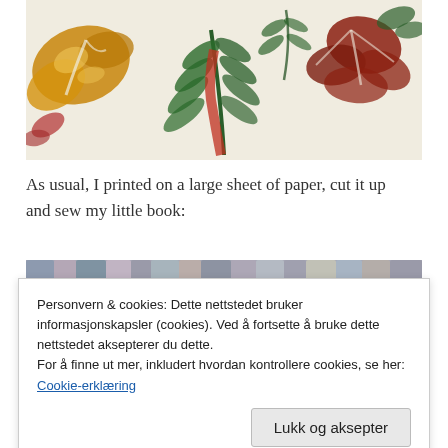[Figure (photo): Photo of leaf and flower prints on white paper: golden/yellow leaf print on left, green fern-like leaf prints in center, dark red flower print on right, with a red stem element.]
As usual, I printed on a large sheet of paper, cut it up and sew my little book:
[Figure (photo): Photo of colorful fabric rolls or yarn skeins displayed on shelves, partially obscured by the cookie consent banner.]
Personvern & cookies: Dette nettstedet bruker informasjonskapsler (cookies). Ved å fortsette å bruke dette nettstedet aksepterer du dette.
For å finne ut mer, inkludert hvordan kontrollere cookies, se her:
Cookie-erklæring
Lukk og aksepter